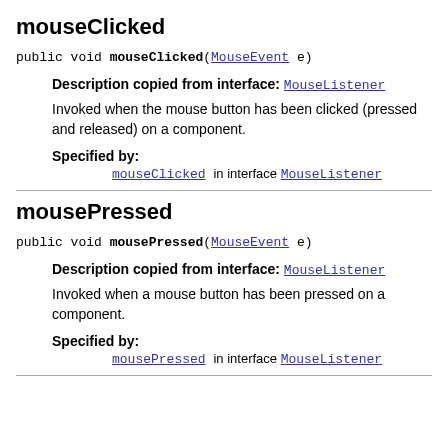mouseClicked
public void mouseClicked(MouseEvent e)
Description copied from interface: MouseListener
Invoked when the mouse button has been clicked (pressed and released) on a component.
Specified by:
mouseClicked in interface MouseListener
mousePressed
public void mousePressed(MouseEvent e)
Description copied from interface: MouseListener
Invoked when a mouse button has been pressed on a component.
Specified by:
mousePressed in interface MouseListener